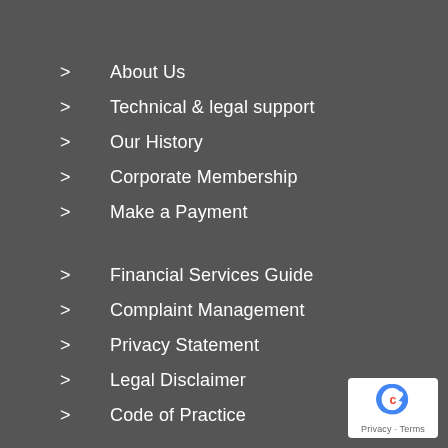About Us
Technical & legal support
Our History
Corporate Membership
Make a Payment
Financial Services Guide
Complaint Management
Privacy Statement
Legal Disclaimer
Code of Practice
[Figure (logo): reCAPTCHA badge with Privacy and Terms links]